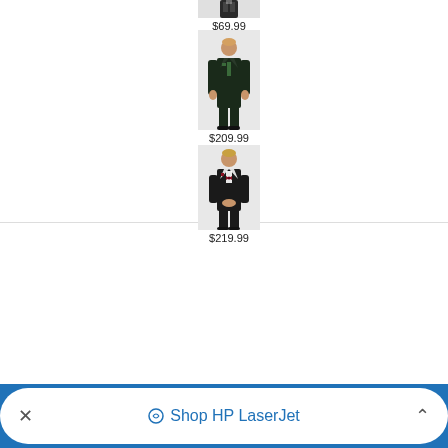[Figure (photo): Partially visible product card showing a dark suit with price $69.99]
$69.99
[Figure (photo): Man in dark green/black suit with green pocket square and tie, full body shot]
$209.99
[Figure (photo): Man in black tuxedo with red/burgundy bow tie, full body shot]
$219.99
Shop HP LaserJet